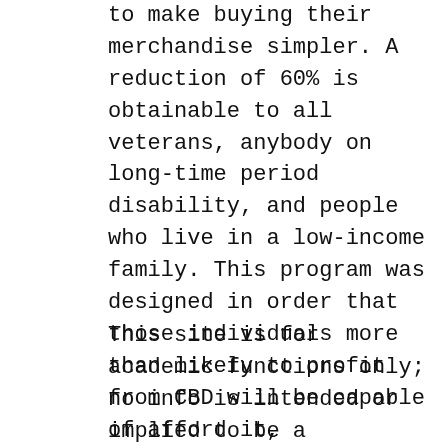today. This company offers an help program to make buying their merchandise simpler. A reduction of 60% is obtainable to all veterans, anybody on long-time period disability, and people who live in a low-income family. This program was designed in order that those individuals more than likely to profit from CBD will be capable of afford it, irrespective of their circumstances.
This site is for academic functions only; no info is intended or implied to be a substitute for skilled medical advice. The knowledge is produced and reviewed by over 200 medical professionals with the goal of providing trusted, uniquely informative information for folks with painful well being circumstances. Some studies recommend that CBD can impact LIKE THIS how an individual perceives ache, but more strong research is needed.